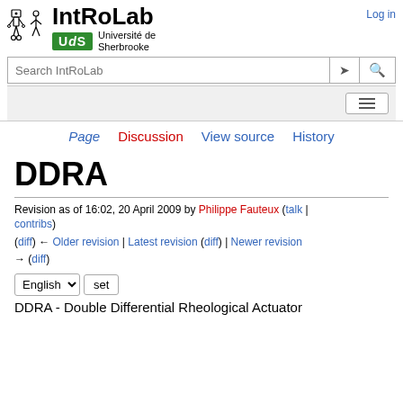[Figure (logo): IntRoLab logo with UdS (Université de Sherbrooke) badge and robot figure illustration]
Log in
Search IntRoLab
Page  Discussion  View source  History
DDRA
Revision as of 16:02, 20 April 2009 by Philippe Fauteux (talk | contribs)
(diff) ← Older revision | Latest revision (diff) | Newer revision → (diff)
English  set
DDRA - Double Differential Rheological Actuator